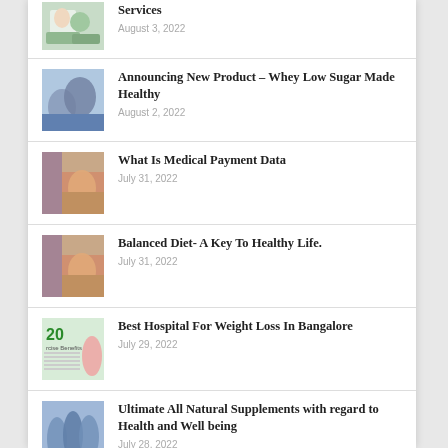Services
Announcing New Product – Whey Low Sugar Made Healthy
What Is Medical Payment Data
Balanced Diet- A Key To Healthy Life.
Best Hospital For Weight Loss In Bangalore
Ultimate All Natural Supplements with regard to Health and Well being